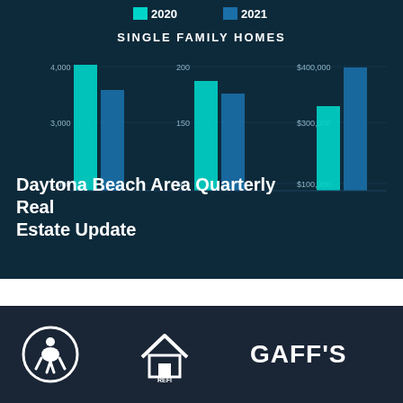[Figure (bar-chart): Grouped bar chart showing 2020 vs 2021 data for Single Family Homes. Three sets of bars with axes showing counts (1,000–4,000), units (50–200), and prices ($100,000–$400,000). Legend shows teal for 2020 and blue for 2021.]
Daytona Beach Area Quarterly Real Estate Update
[Figure (logo): Accessibility wheelchair icon in circle, house/roof logo, and GAFF'S text logo in footer]